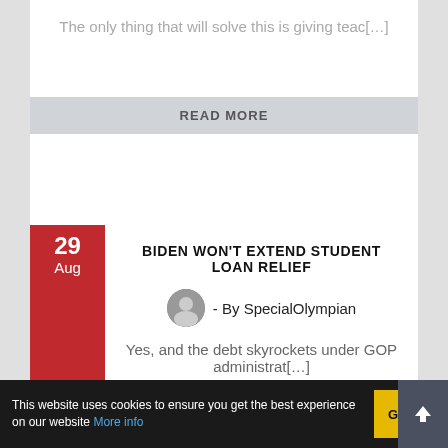The only thing that will solve this is giving teac[…]
READ MORE
BIDEN WON'T EXTEND STUDENT LOAN RELIEF
- By SpecialOlympian
Yes, and the debt skyrockets under GOP administrat[…]
READ MORE
BRUCE GAGNON DROPS MAJOR TRUTH BOMBS
- By Mike12
This website uses cookies to ensure you get the best experience on our website More info